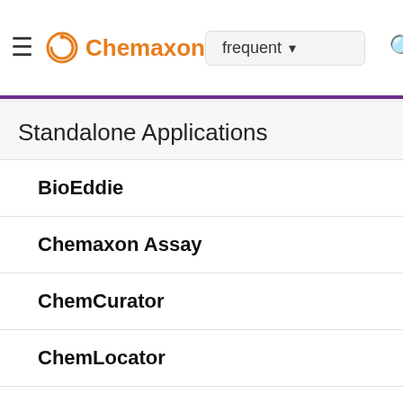Chemaxon | frequent
Standalone Applications
BioEddie
Chemaxon Assay
ChemCurator
ChemLocator
cHemTS
Compliance Checker
Compound Registration
Instant JChem